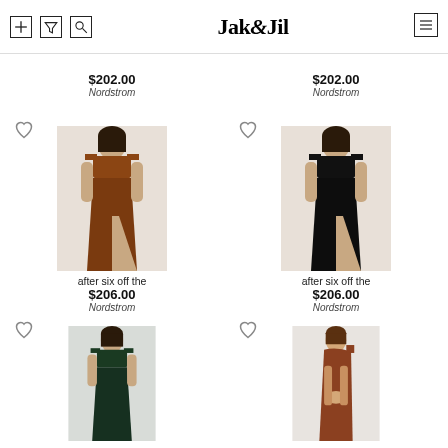Jak&Jil
$202.00
Nordstrom
$202.00
Nordstrom
[Figure (photo): Rust/brown velvet off-the-shoulder long dress with slit, worn by a model]
after six off the
$206.00
Nordstrom
[Figure (photo): Black velvet off-the-shoulder long dress with slit, worn by a model]
after six off the
$206.00
Nordstrom
[Figure (photo): Dark green velvet off-the-shoulder long dress, worn by a model]
[Figure (photo): Rust/terracotta velvet one-shoulder dress, worn by a model]